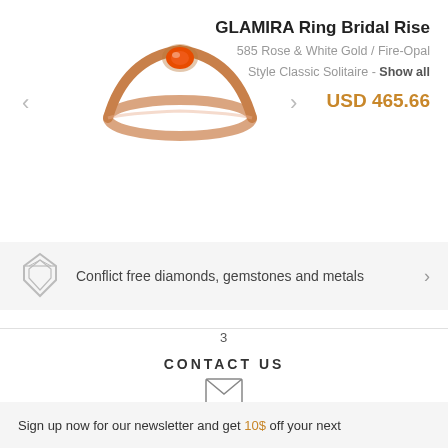[Figure (photo): Rose gold ring with orange fire-opal gemstone in solitaire setting, shown on white background with left and right navigation arrows]
GLAMIRA Ring Bridal Rise
585 Rose & White Gold / Fire-Opal
Style Classic Solitaire - Show all
USD 465.66
Conflict free diamonds, gemstones and metals
3
CONTACT US
[Figure (illustration): Envelope / email icon]
EMAIL
service@glamira.com
Sign up now for our newsletter and get 10$ off your next